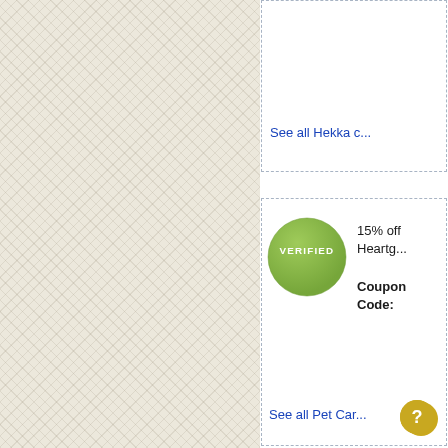See all Hekka c...
[Figure (illustration): Green VERIFIED badge circle for coupon 2]
15% off Heartg...
Coupon Code:
See all Pet Care...
[Figure (illustration): Green VERIFIED badge circle for coupon 3]
Revolution (str...
Coupon Code:
See all Pet Care...